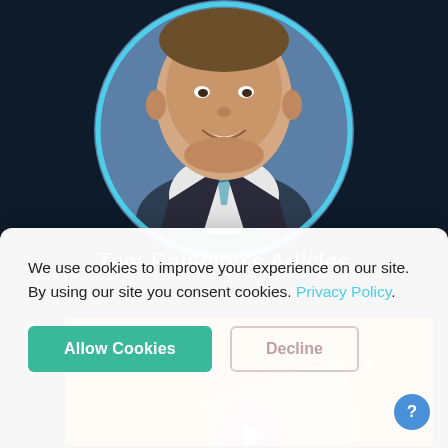[Figure (photo): Circular profile photo of Tom Paladino, a man in a dark suit with a striped tie, on a blue background, framed with a cyan/light blue circular border.]
Tom Paladino's Articles
[Figure (illustration): Orange background article thumbnail with a film clapperboard icon in grey/white tones and a red/pink play button at the bottom.]
We use cookies to improve your experience on our site. By using our site you consent cookies. Privacy Policy.
Allow Cookies
Decline